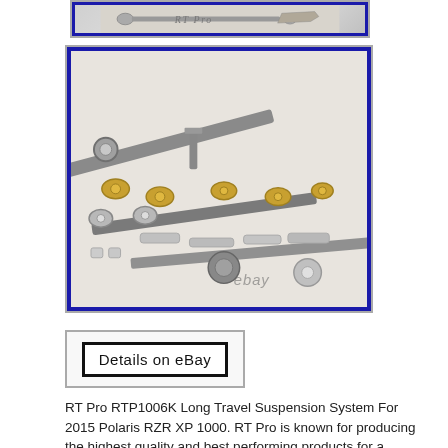[Figure (photo): Partial view of a product photo at top, showing mechanical parts/components with blue border]
[Figure (photo): Close-up photo of RT Pro long travel suspension system components including A-arms, rod ends, bearings, and hardware laid out on a white surface. Has blue border and ebay watermark.]
[Figure (other): Details on eBay button graphic with black border]
RT Pro RTP1006K Long Travel Suspension System For 2015 Polaris RZR XP 1000. RT Pro is known for producing the highest quality and best performing products for a decade now. Its worth taking the time and